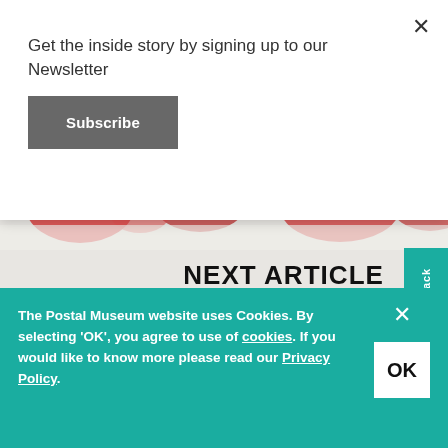Get the inside story by signing up to our Newsletter
Subscribe
NEXT ARTICLE
Wallace & Gromit Christmas Stam
[Figure (illustration): Partial illustration with red decorative shapes at top, and cartoon character illustrations (Wallace & Gromit style) at bottom]
Feedback
The Postal Museum website uses Cookies. By selecting 'OK', you agree to use of cookies. If you would like to know more please read our Privacy Policy.